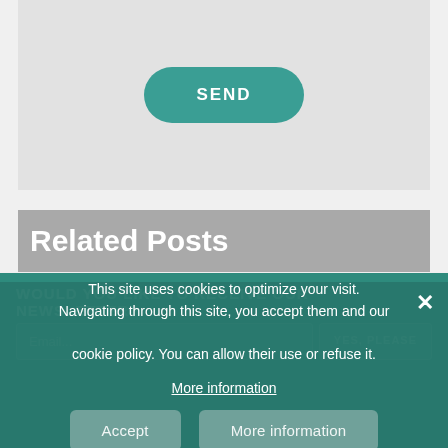[Figure (screenshot): Form area with a teal SEND button centered on a light gray background]
Related Posts
No related posts.
WOULD YOU LIKE TO RECEIVE OUR NEWSLETTER?
[Figure (screenshot): Email input field and YES, PLEASE button on teal background]
This site uses cookies to optimize your visit. Navigating through this site, you accept them and our cookie policy. You can allow their use or refuse it.
More information
Accept
More information